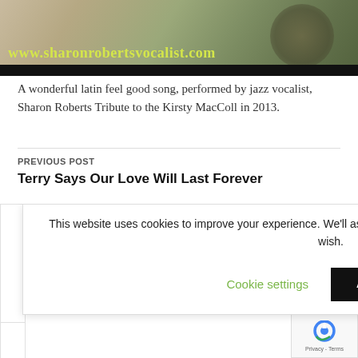[Figure (photo): Banner image of Sharon Roberts vocalist website with yellowish-green URL text 'www.sharonrobertsvocalist.com' on a dark bar at the bottom of the banner]
A wonderful latin feel good song, performed by jazz vocalist, Sharon Roberts Tribute to the Kirsty MacColl in 2013.
PREVIOUS POST
Terry Says Our Love Will Last Forever
This website uses cookies to improve your experience. We'll assume you're ok with this, but you can opt-out if you wish.
Cookie settings
ACCEPT